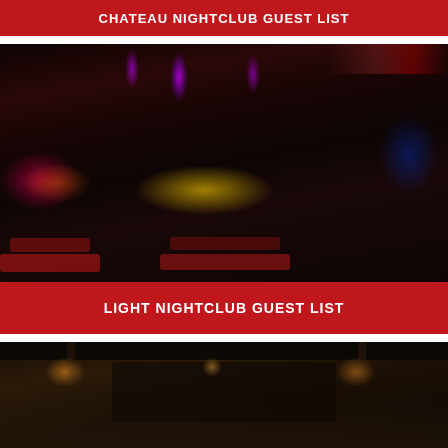CHATEAU NIGHTCLUB GUEST LIST
[Figure (photo): Interior of Light Nightclub showing red velvet seating, illuminated dance floor with yellow/gold lighting, hanging purple jellyfish-style light fixtures, mirrored ceiling panels, and dramatic nightclub atmosphere with purple and pink accent lighting]
LIGHT NIGHTCLUB GUEST LIST
[Figure (photo): Interior of another nightclub venue showing curved bar or seating area with warm amber lighting, ornate ceiling fixtures, and elegant decor in dark tones]